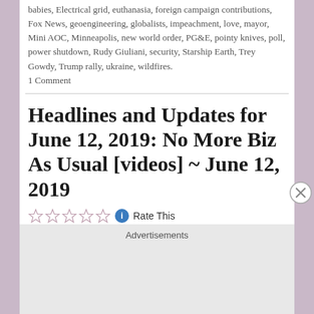babies, Electrical grid, euthanasia, foreign campaign contributions, Fox News, geoengineering, globalists, impeachment, love, mayor, Mini AOC, Minneapolis, new world order, PG&E, pointy knives, poll, power shutdown, Rudy Giuliani, security, Starship Earth, Trey Gowdy, Trump rally, ukraine, wildfires.
1 Comment
Headlines and Updates for June 12, 2019: No More Biz As Usual [videos] ~ June 12, 2019
Rate This
Advertisements